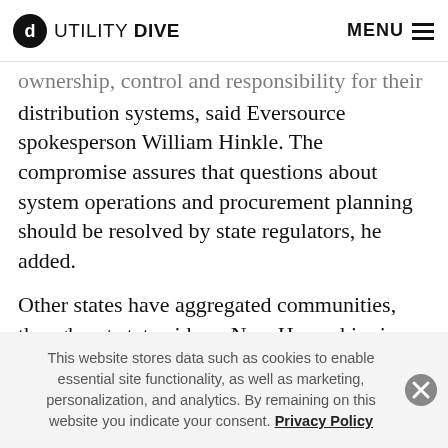UTILITY DIVE  MENU
ownership, control and responsibility for their distribution systems, said Eversource spokesperson William Hinkle. The compromise assures that questions about system operations and procurement planning should be resolved by state regulators, he added.
Other states have aggregated communities, though not statewide as New Hampshire is doing. The Community Power Coalition is already growing, and “will soon represent enough load to match the state’s smaller
This website stores data such as cookies to enable essential site functionality, as well as marketing, personalization, and analytics. By remaining on this website you indicate your consent. Privacy Policy